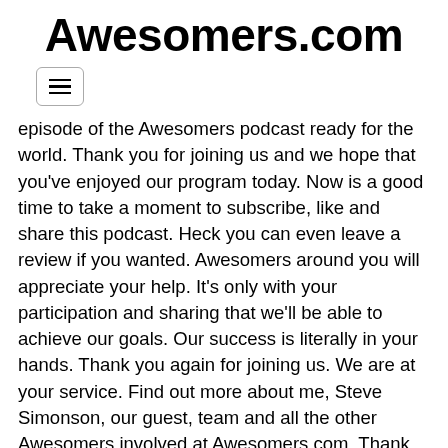Awesomers.com
episode of the Awesomers podcast ready for the world. Thank you for joining us and we hope that you've enjoyed our program today. Now is a good time to take a moment to subscribe, like and share this podcast. Heck you can even leave a review if you wanted. Awesomers around you will appreciate your help. It's only with your participation and sharing that we'll be able to achieve our goals. Our success is literally in your hands. Thank you again for joining us. We are at your service. Find out more about me, Steve Simonson, our guest, team and all the other Awesomers involved at Awesomers.com. Thank you again.